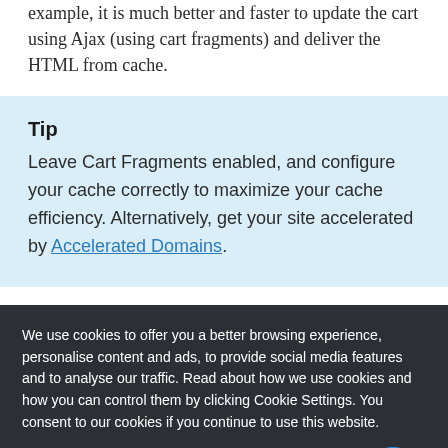example, it is much better and faster to update the cart using Ajax (using cart fragments) and deliver the HTML from cache.
Tip
Leave Cart Fragments enabled, and configure your cache correctly to maximize your cache efficiency. Alternatively, get your site accelerated by Accelerated Domains.
We use cookies to offer you a better browsing experience, personalise content and ads, to provide social media features and to analyse our traffic. Read about how we use cookies and how you can control them by clicking Cookie Settings. You consent to our cookies if you continue to use this website.
Cookie settings   Accept cookies